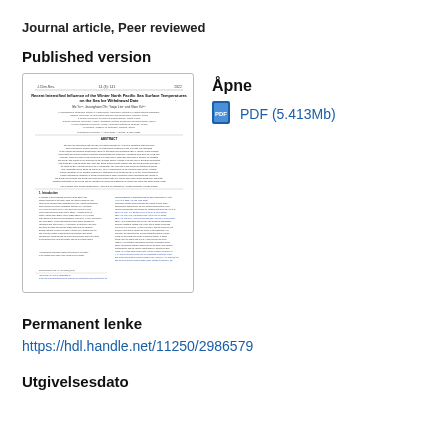Journal article, Peer reviewed
Published version
[Figure (other): Thumbnail preview of a journal article page showing title, authors, abstract, and body text.]
Åpne
PDF (5.413Mb)
Permanent lenke
https://hdl.handle.net/11250/2986579
Utgivelsesdato